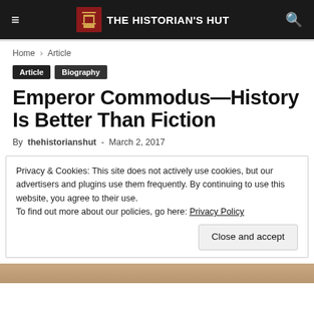THE HISTORIAN'S HUT
Home › Article
Article
Biography
Emperor Commodus—History Is Better Than Fiction
By thehistorianshut - March 2, 2017
Privacy & Cookies: This site does not actively use cookies, but our advertisers and plugins use them frequently. By continuing to use this website, you agree to their use.
To find out more about our policies, go here: Privacy Policy
Close and accept